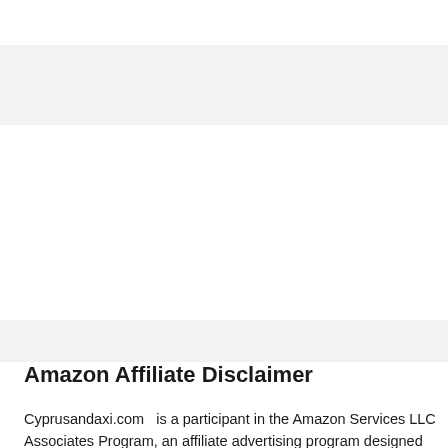Amazon Affiliate Disclaimer
Cyprusandaxi.com  is a participant in the Amazon Services LLC Associates Program, an affiliate advertising program designed to provide a means for sites to earn advertising fees by advertising and linking to Amazon.com